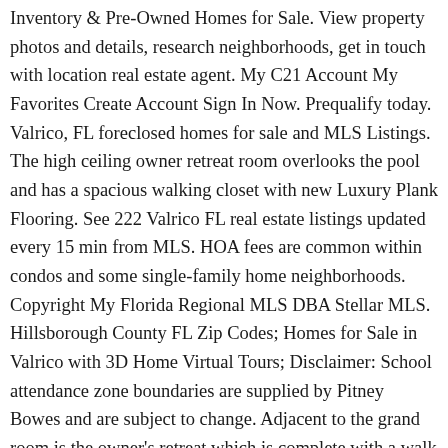Inventory & Pre-Owned Homes for Sale. View property photos and details, research neighborhoods, get in touch with location real estate agent. My C21 Account My Favorites Create Account Sign In Now. Prequalify today. Valrico, FL foreclosed homes for sale and MLS Listings. The high ceiling owner retreat room overlooks the pool and has a spacious walking closet with new Luxury Plank Flooring. See 222 Valrico FL real estate listings updated every 15 min from MLS. HOA fees are common within condos and some single-family home neighborhoods. Copyright My Florida Regional MLS DBA Stellar MLS. Hillsborough County FL Zip Codes; Homes for Sale in Valrico with 3D Home Virtual Tours; Disclaimer: School attendance zone boundaries are supplied by Pitney Bowes and are subject to change. Adjacent to the grand room is the owner's retreat which is complete with a walk in closet plus 2nd closet, oversized deluxe shower, and his and her vanities. City Mountain Park Water Zillow Owned Lot Size These are also known as bank-owned or real estate owned